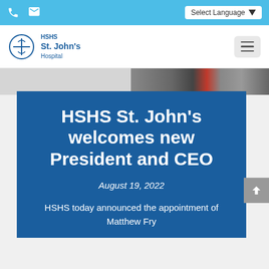HSHS St. John's Hospital — top navigation bar with phone icon, mail icon, Select Language dropdown, and hamburger menu
[Figure (photo): Partial photo of a person in a suit with a red tie, cropped, showing upper body in gray/charcoal suit]
HSHS St. John's welcomes new President and CEO
August 19, 2022
HSHS today announced the appointment of Matthew Fry